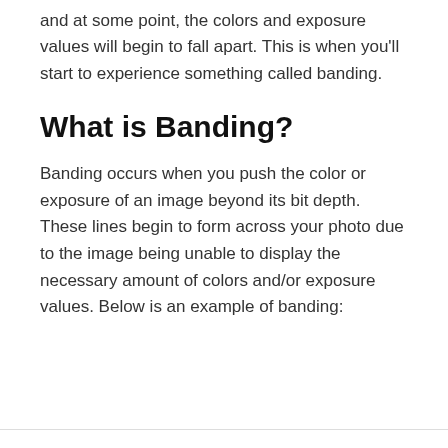and at some point, the colors and exposure values will begin to fall apart. This is when you'll start to experience something called banding.
What is Banding?
Banding occurs when you push the color or exposure of an image beyond its bit depth. These lines begin to form across your photo due to the image being unable to display the necessary amount of colors and/or exposure values. Below is an example of banding: